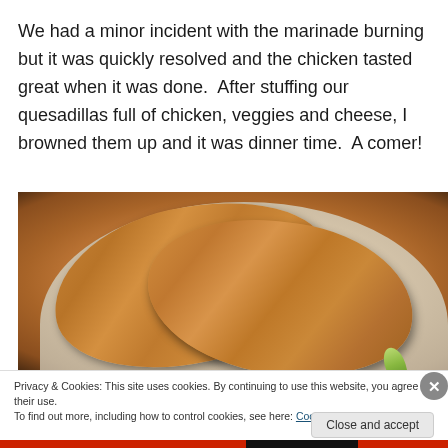We had a minor incident with the marinade burning but it was quickly resolved and the chicken tasted great when it was done. After stuffing our quesadillas full of chicken, veggies and cheese, I browned them up and it was dinner time. A comer!
[Figure (photo): A photograph of golden-brown quesadilla slices arranged on a white plate, with green garnish visible in the lower right, set against a dark background.]
Privacy & Cookies: This site uses cookies. By continuing to use this website, you agree to their use.
To find out more, including how to control cookies, see here: Cookie Policy